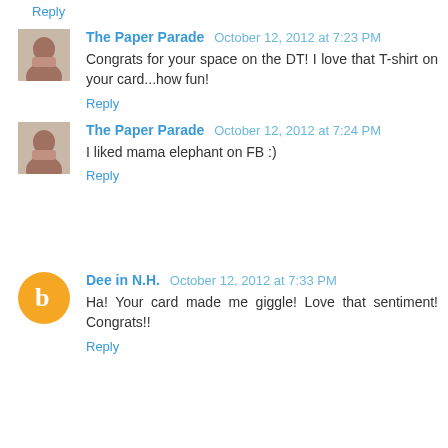Reply
The Paper Parade  October 12, 2012 at 7:23 PM
Congrats for your space on the DT! I love that T-shirt on your card...how fun!
Reply
The Paper Parade  October 12, 2012 at 7:24 PM
I liked mama elephant on FB :)
Reply
Dee in N.H.  October 12, 2012 at 7:33 PM
Ha! Your card made me giggle! Love that sentiment! Congrats!!
Reply